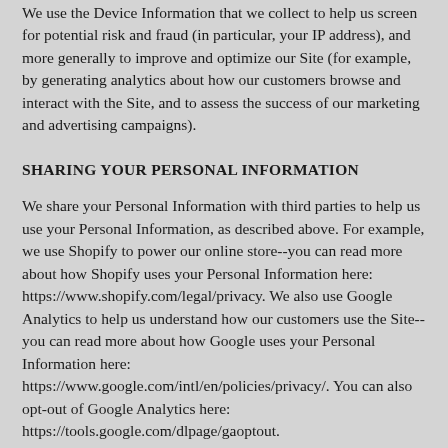We use the Device Information that we collect to help us screen for potential risk and fraud (in particular, your IP address), and more generally to improve and optimize our Site (for example, by generating analytics about how our customers browse and interact with the Site, and to assess the success of our marketing and advertising campaigns).
SHARING YOUR PERSONAL INFORMATION
We share your Personal Information with third parties to help us use your Personal Information, as described above. For example, we use Shopify to power our online store--you can read more about how Shopify uses your Personal Information here: https://www.shopify.com/legal/privacy. We also use Google Analytics to help us understand how our customers use the Site--you can read more about how Google uses your Personal Information here: https://www.google.com/intl/en/policies/privacy/. You can also opt-out of Google Analytics here: https://tools.google.com/dlpage/gaoptout.